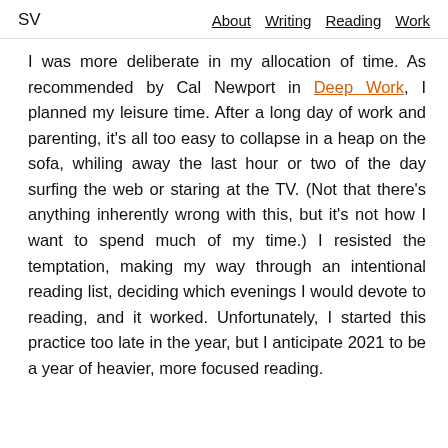SV    About  Writing  Reading  Work
I was more deliberate in my allocation of time. As recommended by Cal Newport in Deep Work, I planned my leisure time. After a long day of work and parenting, it's all too easy to collapse in a heap on the sofa, whiling away the last hour or two of the day surfing the web or staring at the TV. (Not that there's anything inherently wrong with this, but it's not how I want to spend much of my time.) I resisted the temptation, making my way through an intentional reading list, deciding which evenings I would devote to reading, and it worked. Unfortunately, I started this practice too late in the year, but I anticipate 2021 to be a year of heavier, more focused reading.